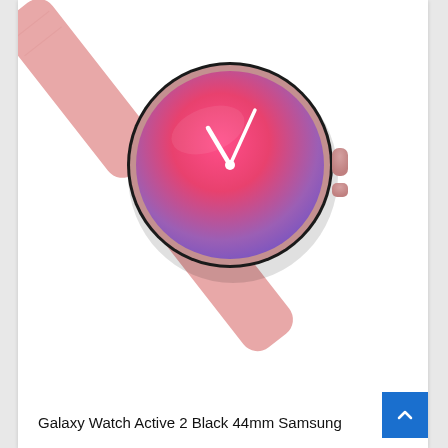[Figure (photo): Samsung Galaxy Watch Active 2 in pink/rose gold color with pink band, shown at an angle. The watch face displays a pink-to-purple gradient with white clock hands. The text 'Active 2' is printed vertically in large bold black letters on the white background beside the watch.]
Galaxy Watch Active 2 Black 44mm Samsung